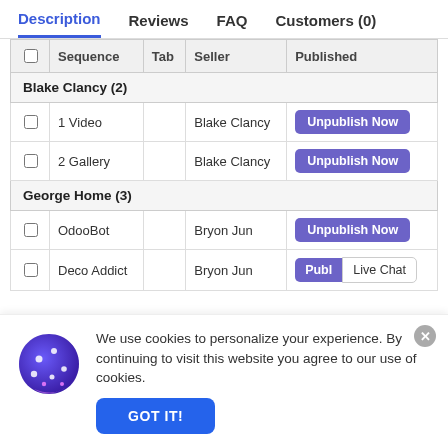Description | Reviews | FAQ | Customers (0)
|  | Sequence | Tab | Seller | Published |
| --- | --- | --- | --- | --- |
| [group] | Blake Clancy (2) |  |  |  |
| ☐ | 1 Video |  | Blake Clancy | Unpublish Now |
| ☐ | 2 Gallery |  | Blake Clancy | Unpublish Now |
| [group] | George Home (3) |  |  |  |
| ☐ | OdooBot |  | Bryon Jun | Unpublish Now |
| ☐ | Deco Addict |  | Bryon Jun | Publ | Live Chat |
We use cookies to personalize your experience. By continuing to visit this website you agree to our use of cookies.